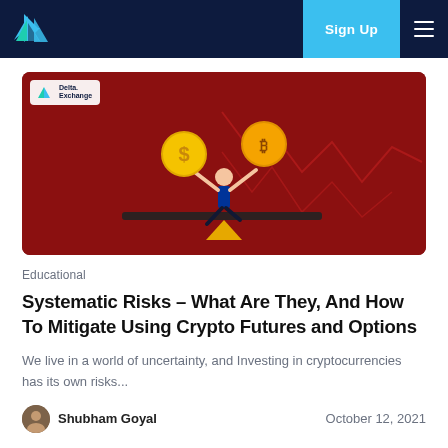Delta Exchange — Sign Up
[Figure (illustration): Illustrated figure of a man balancing on a seesaw/teeter-totter, holding a dollar coin in one hand and a Bitcoin coin in the other, against a red background with financial chart lines. Delta Exchange logo in top-left corner.]
Educational
Systematic Risks – What Are They, And How To Mitigate Using Crypto Futures and Options
We live in a world of uncertainty, and Investing in cryptocurrencies has its own risks...
Shubham Goyal
October 12, 2021